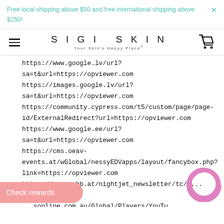Free local shipping above $50 and free international shipping above $250!
[Figure (logo): SIGI SKIN logo with hamburger menu and cart icon]
https://www.google.lv/url?sa=t&url=https://opviewer.com
https://images.google.lv/url?sa=t&url=https://opviewer.com
https://community.cypress.com/t5/custom/page/page-id/ExternalRedirect?url=https://opviewer.com
https://www.google.ee/url?sa=t&url=https://opviewer.com
https://cms.oeav-events.at/wGlobal/nessyEDVapps/layout/fancybox.php?link=https://opviewer.com
https://www.oebb.at/nightjet_newsletter/tc/x...com
https://...sonline.com.au/Global/Players/YouTu...